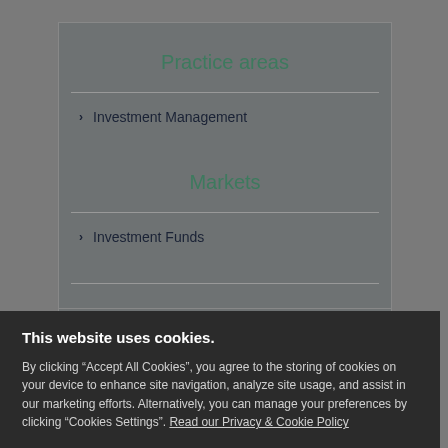Practice areas
Investment Management
Markets
Investment Funds
Key Contact
This website uses cookies.
By clicking “Accept All Cookies”, you agree to the storing of cookies on your device to enhance site navigation, analyze site usage, and assist in our marketing efforts. Alternatively, you can manage your preferences by clicking “Cookies Settings”. Read our Privacy & Cookie Policy